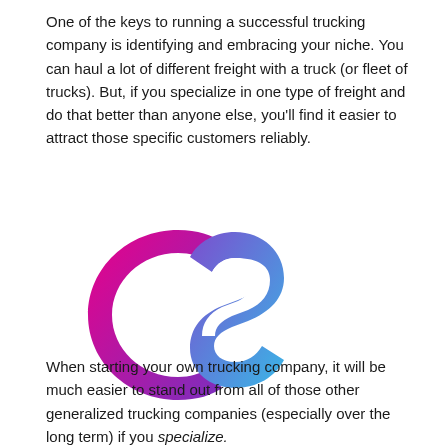One of the keys to running a successful trucking company is identifying and embracing your niche. You can haul a lot of different freight with a truck (or fleet of trucks). But, if you specialize in one type of freight and do that better than anyone else, you'll find it easier to attract those specific customers reliably.
[Figure (logo): CS logo with a stylized letter C in pink-to-purple gradient and letter S in blue gradient, combined into an abstract rounded shape]
When starting your own trucking company, it will be much easier to stand out from all of those other generalized trucking companies (especially over the long term) if you specialize.